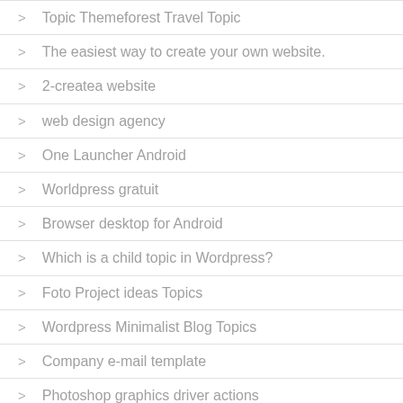Topic Themeforest Travel Topic
The easiest way to create your own website.
2-createa website
web design agency
One Launcher Android
Worldpress gratuit
Browser desktop for Android
Which is a child topic in Wordpress?
Foto Project ideas Topics
Wordpress Minimalist Blog Topics
Company e-mail template
Photoshop graphics driver actions
Envato Studio coupon code
working press
Advertising Web Design